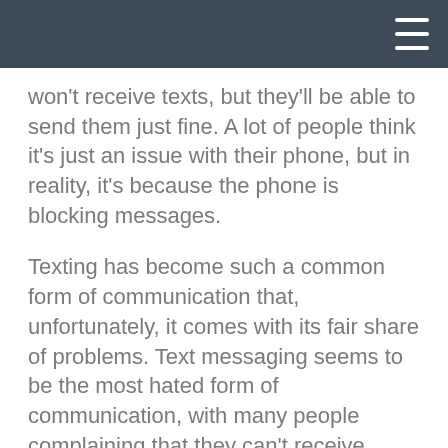[navigation bar with hamburger menu]
won't receive texts, but they'll be able to send them just fine. A lot of people think it's just an issue with their phone, but in reality, it's because the phone is blocking messages.
Texting has become such a common form of communication that, unfortunately, it comes with its fair share of problems. Text messaging seems to be the most hated form of communication, with many people complaining that they can't receive texts, or have to re-send texts multiple times.
If you are receiving texts but can't send them, or if texts you've sent have come back as "not delivered",